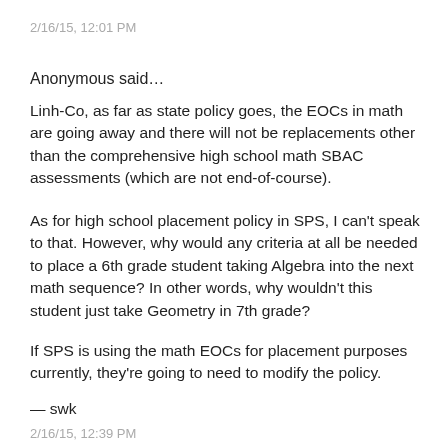2/16/15, 12:01 PM
Anonymous said…
Linh-Co, as far as state policy goes, the EOCs in math are going away and there will not be replacements other than the comprehensive high school math SBAC assessments (which are not end-of-course).
As for high school placement policy in SPS, I can't speak to that. However, why would any criteria at all be needed to place a 6th grade student taking Algebra into the next math sequence? In other words, why wouldn't this student just take Geometry in 7th grade?
If SPS is using the math EOCs for placement purposes currently, they're going to need to modify the policy.
— swk
2/16/15, 12:39 PM